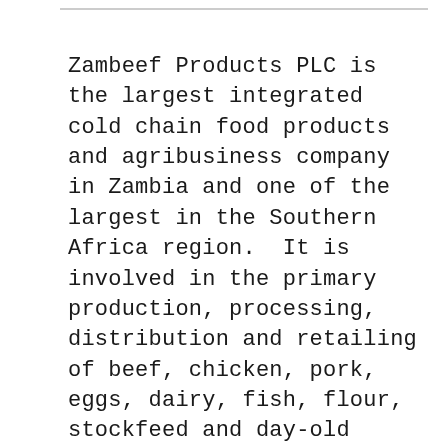Zambeef Products PLC is the largest integrated cold chain food products and agribusiness company in Zambia and one of the largest in the Southern Africa region.  It is involved in the primary production, processing, distribution and retailing of beef, chicken, pork, eggs, dairy, fish, flour, stockfeed and day-old chicks throughout Zambia and the surrounding region.